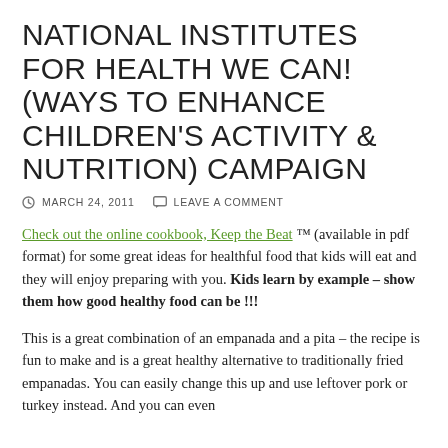NATIONAL INSTITUTES FOR HEALTH WE CAN! (WAYS TO ENHANCE CHILDREN'S ACTIVITY & NUTRITION) CAMPAIGN
MARCH 24, 2011   LEAVE A COMMENT
Check out the online cookbook, Keep the Beat ™ (available in pdf format) for some great ideas for healthful food that kids will eat and they will enjoy preparing with you. Kids learn by example – show them how good healthy food can be !!!
This is a great combination of an empanada and a pita – the recipe is fun to make and is a great healthy alternative to traditionally fried empanadas. You can easily change this up and use leftover pork or turkey instead. And you can even